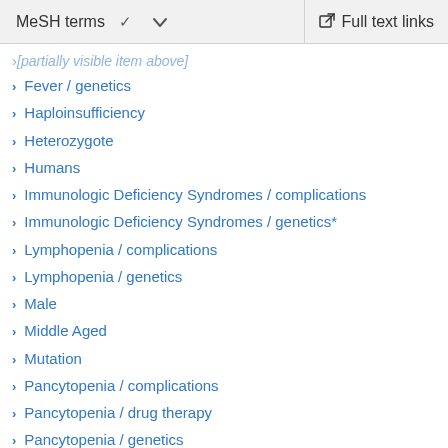MeSH terms   Full text links
Fever / genetics
Haploinsufficiency
Heterozygote
Humans
Immunologic Deficiency Syndromes / complications
Immunologic Deficiency Syndromes / genetics*
Lymphopenia / complications
Lymphopenia / genetics
Male
Middle Aged
Mutation
Pancytopenia / complications
Pancytopenia / drug therapy
Pancytopenia / genetics
Pedigree
Polymorphism, Single Nucleotide
Recurrence